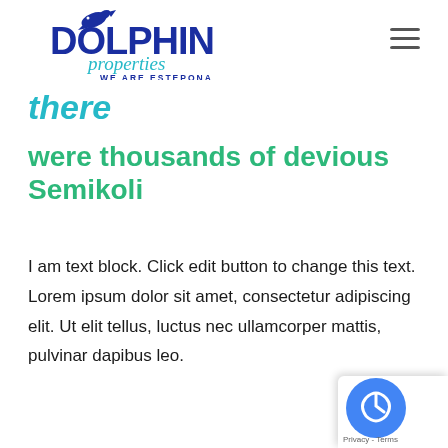[Figure (logo): Dolphin Properties logo with dolphin graphic, bold blue DOLPHIN text, teal cursive 'properties' text, and tagline 'WE ARE ESTEPONA']
there
were thousands of devious Semikoli
I am text block. Click edit button to change this text. Lorem ipsum dolor sit amet, consectetur adipiscing elit. Ut elit tellus, luctus nec ullamcorper mattis, pulvinar dapibus leo.
[Figure (logo): Google reCAPTCHA badge with blue circle and reCAPTCHA icon, Privacy - Terms text]